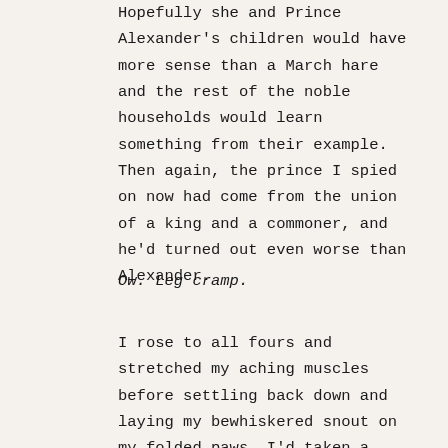Hopefully she and Prince Alexander's children would have more sense than a March hare and the rest of the noble households would learn something from their example. Then again, the prince I spied on now had come from the union of a king and a commoner, and he'd turned out even worse than Alexander.
Ow. Leg cramp.
I rose to all fours and stretched my aching muscles before settling back down and laying my bewhiskered snout on my folded paws. I'd taken a page out of Ella's book and turned myself into a mouse. My rafter perch provided me with a perfect view of the room spread out below me. Ten men sat around a massive table